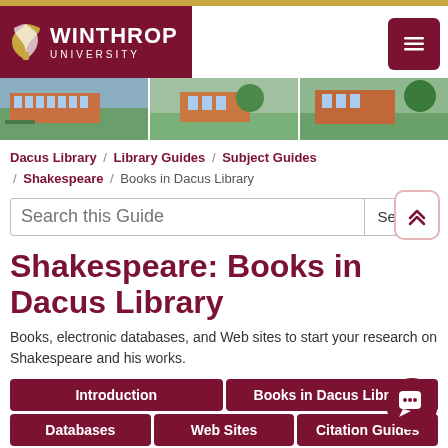[Figure (logo): Winthrop University logo with wing icon on dark red background]
[Figure (photo): Strip of three campus building photos showing brick buildings and trees]
Dacus Library / Library Guides / Subject Guides / Shakespeare / Books in Dacus Library
Search this Guide
Shakespeare: Books in Dacus Library
Books, electronic databases, and Web sites to start your research on Shakespeare and his works.
Introduction
Books in Dacus Library
Databases
Web Sites
Citation Guides
Locating Information in DOC (Dacus Online Catalog)